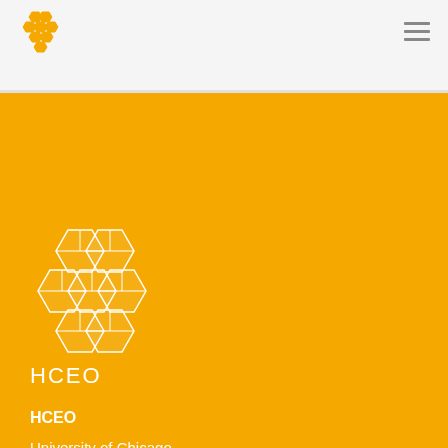[Figure (logo): HCEO honeycomb logo in yellow/gold color, top left header]
[Figure (logo): Hamburger menu icon (three horizontal lines) in top right header]
[Figure (logo): HCEO white honeycomb/cube logo on yellow background]
HCEO
HCEO
University of Chicago
Department of Economics
1126 East 59th Street
Chicago IL 60637
Phone: 773.834.1574